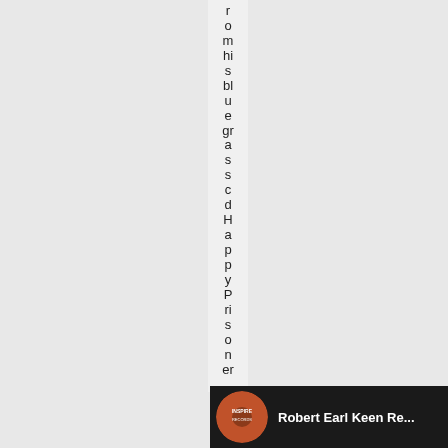r om hi s bl u e gr a s s cd H a p p y P ri s o n er .
[Figure (photo): Album art circle and artist name 'Robert Earl Keen Re...' on dark background strip at bottom]